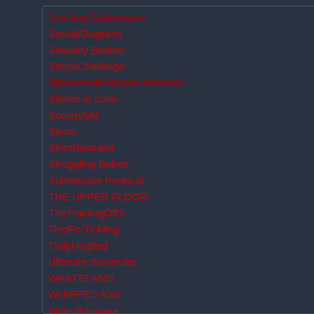Sex And Submission
SexualDisgrace
Sexually Broken
ShockChallange
Slavemouth Brooke Johnson
Slaves In Love
SocietySM
Storm
StrictRestraint
Struggling Babes
Submissive Protocol
THE UPPER FLOOR
TheTrainingOfO
TiedForTickling
TrulyHogtied
Ultimate Surrender
WASTELAND
WHIPPED ASS
WaterBondage
WhippedAss
Whitney Wright
WhoreTrainers
X Virtual